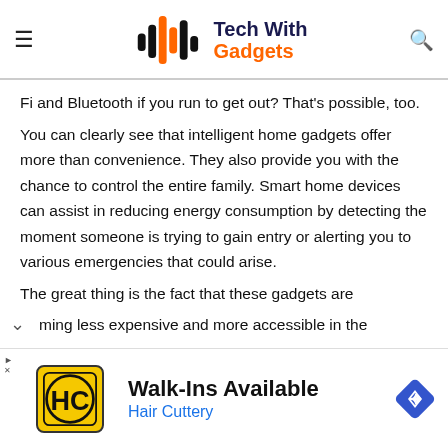Tech With Gadgets
Fi and Bluetooth if you run to get out? That's possible, too.
You can clearly see that intelligent home gadgets offer more than convenience. They also provide you with the chance to control the entire family. Smart home devices can assist in reducing energy consumption by detecting the moment someone is trying to gain entry or alerting you to various emergencies that could arise.
The great thing is the fact that these gadgets are
ming less expensive and more accessible in the
[Figure (infographic): Walk-Ins Available advertisement for Hair Cuttery with yellow HC logo icon and blue navigation diamond icon]